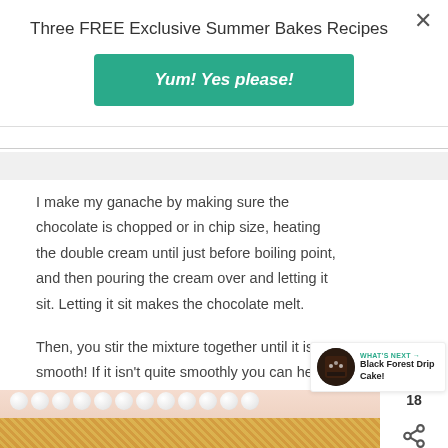Three FREE Exclusive Summer Bakes Recipes
Yum! Yes please!
I make my ganache by making sure the chocolate is chopped or in chip size, heating the double cream until just before boiling point, and then pouring the cream over and letting it sit. Letting it sit makes the chocolate melt.
Then, you stir the mixture together until it is smooth! If it isn't quite smoothly you can heat the mixture gently in 10 second bursts in the microwave until smooth, or in the pan again.
[Figure (photo): Cake decorated with white chocolate balls and chocolate sprinkles on a light peach background]
WHAT'S NEXT → Black Forest Drip Cake!